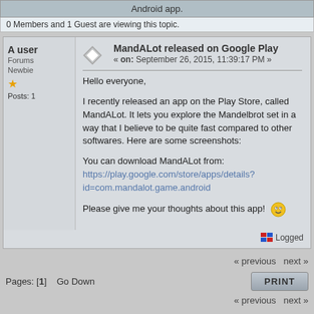Android app.
0 Members and 1 Guest are viewing this topic.
A user
Forums Newbie
Posts: 1
MandALot released on Google Play
« on: September 26, 2015, 11:39:17 PM »
Hello everyone,

I recently released an app on the Play Store, called MandALot. It lets you explore the Mandelbrot set in a way that I believe to be quite fast compared to other softwares. Here are some screenshots:

You can download MandALot from:
https://play.google.com/store/apps/details?id=com.mandalot.game.android

Please give me your thoughts about this app!
Logged
« previous next »
Pages: [1]   Go Down
« previous next »